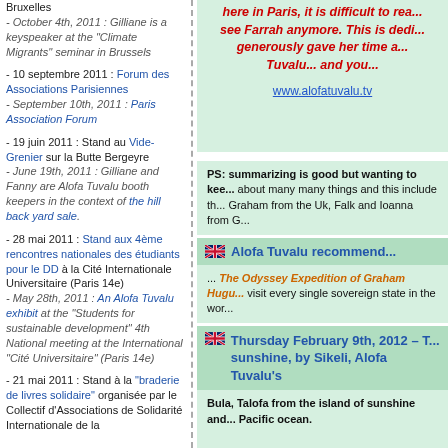Bruxelles
- October 4th, 2011 : Gilliane is a keyspeaker at the "Climate Migrants" seminar in Brussels
- 10 septembre 2011 : Forum des Associations Parisiennes
- September 10th, 2011 : Paris Association Forum
- 19 juin 2011 : Stand au Vide-Grenier sur la Butte Bergeyre
- June 19th, 2011 : Gilliane and Fanny are Alofa Tuvalu booth keepers in the context of the hill back yard sale.
- 28 mai 2011 : Stand aux 4ème rencontres nationales des étudiants pour le DD à la Cité Internationale Universitaire (Paris 14e)
- May 28th, 2011 : An Alofa Tuvalu exhibit at the "Students for sustainable development" 4th National meeting at the International "Cité Universitaire" (Paris 14e)
- 21 mai 2011 : Stand à la "braderie de livres solidaire" organisée par le Collectif d'Associations de Solidarité Internationale de la
here in Paris, it is difficult to rea... see Farrah anymore. This is dedi... generously gave her time a... Tuvalu... and you...
www.alofatuvalu.tv
PS: summarizing is good but wanting to kee... about many many things and this include th... Graham from the Uk, Falk and Ioanna from G...
Alofa Tuvalu recommend...
... The Odyssey Expedition of Graham Hugu... visit every single sovereign state in the wor...
Thursday February 9th, 2012 – T... sunshine, by Sikeli, Alofa Tuvalu's
Bula, Talofa from the island of sunshine and... Pacific ocean.